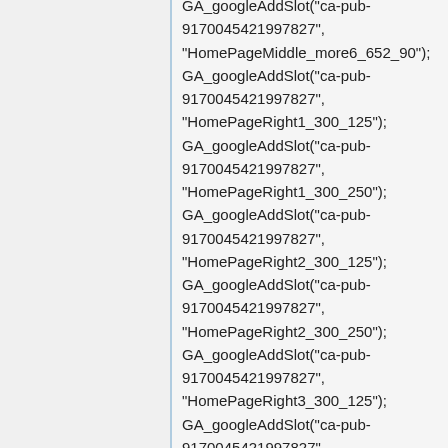GA_googleAddSlot("ca-pub-9170045421997827", "HomePageMiddle_more6_652_90"); GA_googleAddSlot("ca-pub-9170045421997827", "HomePageRight1_300_125"); GA_googleAddSlot("ca-pub-9170045421997827", "HomePageRight1_300_250"); GA_googleAddSlot("ca-pub-9170045421997827", "HomePageRight2_300_125"); GA_googleAddSlot("ca-pub-9170045421997827", "HomePageRight2_300_250"); GA_googleAddSlot("ca-pub-9170045421997827", "HomePageRight3_300_125"); GA_googleAddSlot("ca-pub-9170045421997827", "HomePageRight3_300_250");